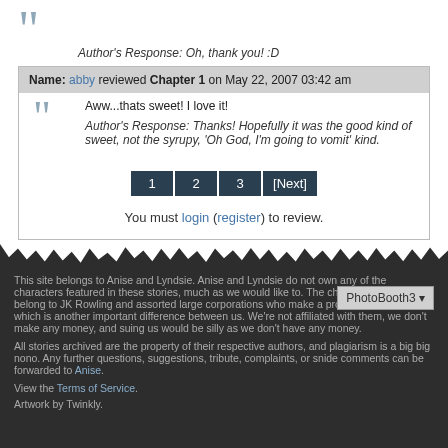Author's Response: Oh, thank you! :D
Name: abby reviewed Chapter 1 on May 22, 2007 03:42 am
Aww...thats sweet! I love it!
Author's Response: Thanks! Hopefully it was the good kind of sweet, not the syrupy, 'Oh God, I'm going to vomit' kind.
1 2 3 [Next]
You must login (register) to review.
This site belongs to Anise and Lyndsie. Anise and Lyndsie do not own any of the characters featured in these stories, much as we would like to. The characters actually belong to JK Rowling and assorted large corporations who make a profit from their efforts, which is another important difference between us. We're not affiliated with them, we don't make any money, and suing us would be silly as we don't have any money.
All stories archived are the property of their respective authors, and plagiarism is a big big nono. Any further questions, suggestions, tribute, complaints, or snide comments can be forwarded to Anise.
View the Terms of Service.
Artwork by Twinkly.